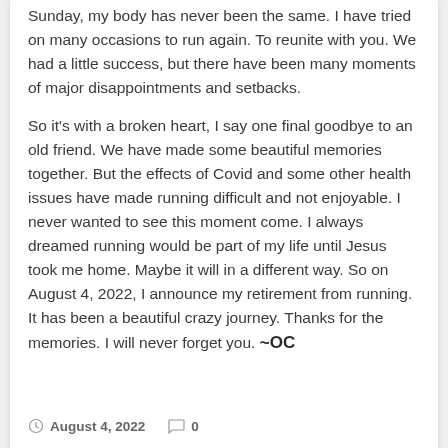Sunday, my body has never been the same. I have tried on many occasions to run again. To reunite with you. We had a little success, but there have been many moments of major disappointments and setbacks.
So it's with a broken heart, I say one final goodbye to an old friend. We have made some beautiful memories together. But the effects of Covid and some other health issues have made running difficult and not enjoyable. I never wanted to see this moment come. I always dreamed running would be part of my life until Jesus took me home. Maybe it will in a different way. So on August 4, 2022, I announce my retirement from running. It has been a beautiful crazy journey. Thanks for the memories. I will never forget you. ~OC
August 4, 2022   0